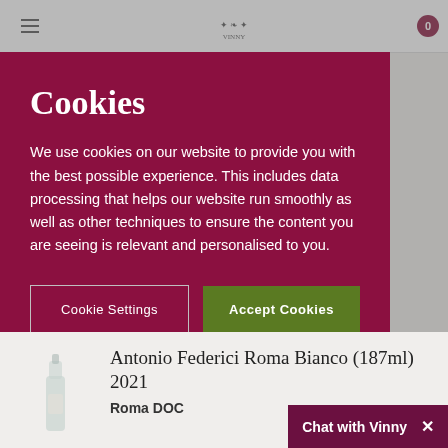Cookies
We use cookies on our website to provide you with the best possible experience. This includes data processing that helps our website run smoothly as well as other techniques to ensure the content you are seeing is relevant and personalised to you.
Cookie Settings
Accept Cookies
Antonio Federici Roma Bianco (187ml) 2021
Roma DOC
Chat with Vinny